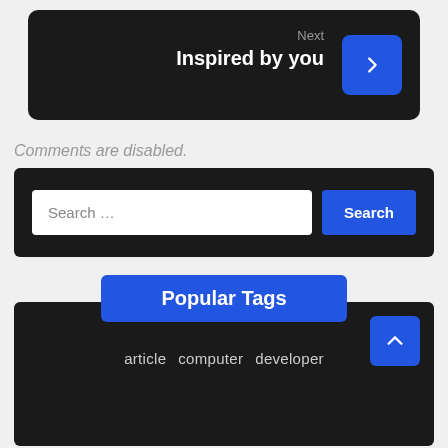[Figure (screenshot): Navigation block with 'Next / Inspired by you' and a blue arrow button on dark background]
Comments are disabled.
[Figure (screenshot): Search bar with text input placeholder 'Search ...' and a blue Search button on dark background]
Popular Tags
[Figure (screenshot): Popular Tags dark section with scroll-to-top button and tag items: article, computer, developer]